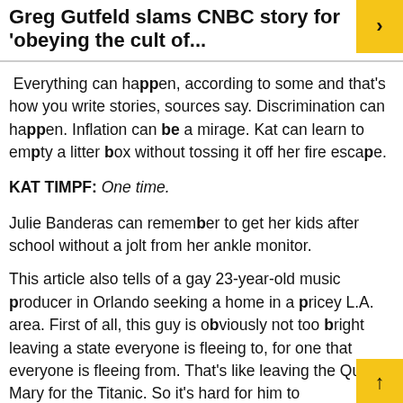Greg Gutfeld slams CNBC story for 'obeying the cult of...
Everything can happen, according to some and that's how you write stories, sources say. Discrimination can happen. Inflation can be a mirage. Kat can learn to empty a litter box without tossing it off her fire escape.
KAT TIMPF: One time.
Julie Banderas can remember to get her kids after school without a jolt from her ankle monitor.
This article also tells of a gay 23-year-old music producer in Orlando seeking a home in a pricey L.A. area. First of all, this guy is obviously not too bright leaving a state everyone is fleeing to, for one that everyone is fleeing from. That's like leaving the Queen Mary for the Titanic. So it's hard for him to